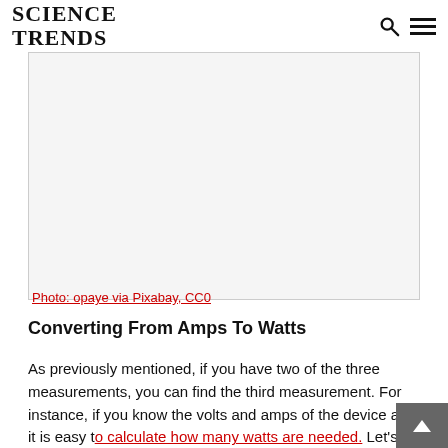SCIENCE TRENDS
[Figure (photo): White/blank photo placeholder image]
Photo: opaye via Pixabay, CC0
Converting From Amps To Watts
As previously mentioned, if you have two of the three measurements, you can find the third measurement. For instance, if you know the volts and amps of the device are, it is easy to calculate how many watts are needed. Let's imagine that you are trying to charge up a battery rated for 0.5 amps and that the current in your household is fixed at